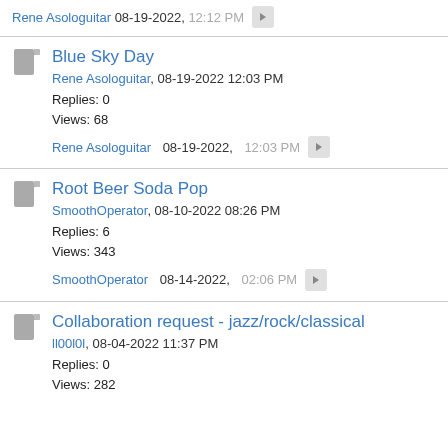Rene Asologuitar 08-19-2022, 12:12 PM
Blue Sky Day
Rene Asologuitar, 08-19-2022 12:03 PM
Replies: 0
Views: 68
Rene Asologuitar 08-19-2022, 12:03 PM
Root Beer Soda Pop
SmoothOperator, 08-10-2022 08:26 PM
Replies: 6
Views: 343
SmoothOperator 08-14-2022, 02:06 PM
Collaboration request - jazz/rock/classical
ll00l0l, 08-04-2022 11:37 PM
Replies: 0
Views: 282